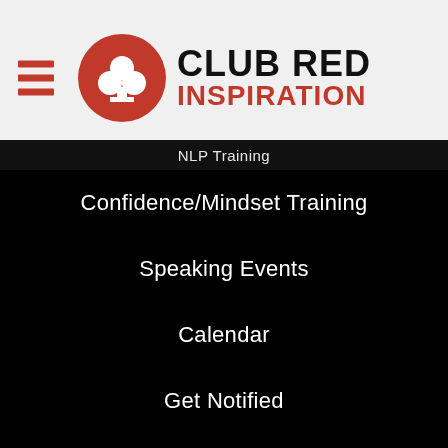CLUB RED INSPIRATION
NLP Training
Confidence/Mindset Training
Speaking Events
Calendar
Get Notified